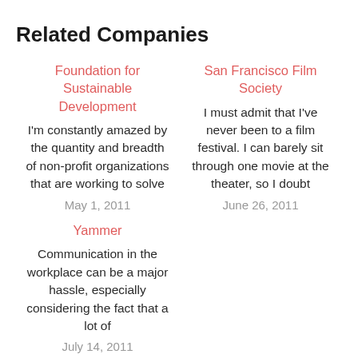Related Companies
Foundation for Sustainable Development
I'm constantly amazed by the quantity and breadth of non-profit organizations that are working to solve
May 1, 2011
San Francisco Film Society
I must admit that I've never been to a film festival. I can barely sit through one movie at the theater, so I doubt
June 26, 2011
Yammer
Communication in the workplace can be a major hassle, especially considering the fact that a lot of
July 14, 2011